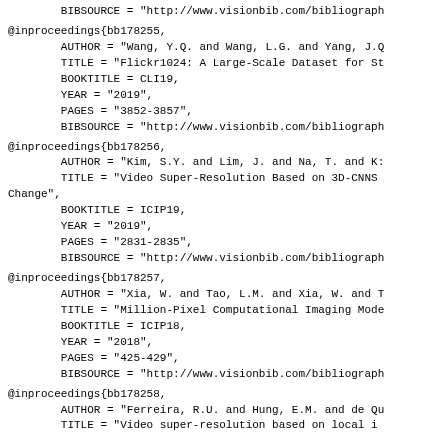BIBSOURCE = "http://www.visionbib.com/bibliograph
@inproceedings{bb178255,
        AUTHOR = "Wang, Y.Q. and Wang, L.G. and Yang, J.Q
        TITLE = "Flickr1024: A Large-Scale Dataset for St
        BOOKTITLE = CLI19,
        YEAR = "2019",
        PAGES = "3852-3857",
        BIBSOURCE = "http://www.visionbib.com/bibliograph
@inproceedings{bb178256,
        AUTHOR = "Kim, S.Y. and Lim, J. and Na, T. and K:
        TITLE = "Video Super-Resolution Based on 3D-CNNS
Change",
        BOOKTITLE = ICIP19,
        YEAR = "2019",
        PAGES = "2831-2835",
        BIBSOURCE = "http://www.visionbib.com/bibliograph
@inproceedings{bb178257,
        AUTHOR = "Xia, W. and Tao, L.M. and Xia, W. and T
        TITLE = "Million-Pixel Computational Imaging Mode
        BOOKTITLE = ICIP18,
        YEAR = "2018",
        PAGES = "425-429",
        BIBSOURCE = "http://www.visionbib.com/bibliograph
@inproceedings{bb178258,
        AUTHOR = "Ferreira, R.U. and Hung, E.M. and de Qu
        TITLE = "Video super-resolution based on local i